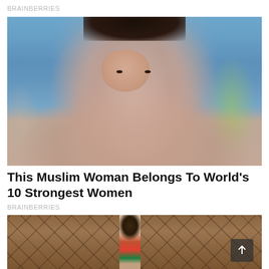BRAINBERRIES
[Figure (photo): A Muslim woman wearing a light pink/beige hijab, sitting indoors with a blurred blue background and greenery visible on the right.]
This Muslim Woman Belongs To World's 10 Strongest Women
BRAINBERRIES
[Figure (photo): A person standing in front of cracked earth/mud wall, wearing traditional African beaded jewelry and headpiece.]